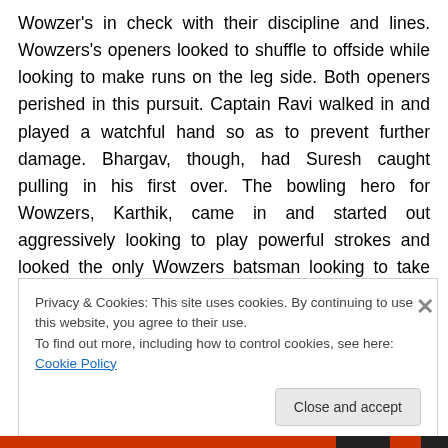Wowzer's in check with their discipline and lines. Wowzers's openers looked to shuffle to offside while looking to make runs on the leg side. Both openers perished in this pursuit. Captain Ravi walked in and played a watchful hand so as to prevent further damage. Bhargav, though, had Suresh caught pulling in his first over. The bowling hero for Wowzers, Karthik, came in and started out aggressively looking to play powerful strokes and looked the only Wowzers batsman looking to take the fight to the CECC camp.
Privacy & Cookies: This site uses cookies. By continuing to use this website, you agree to their use. To find out more, including how to control cookies, see here: Cookie Policy